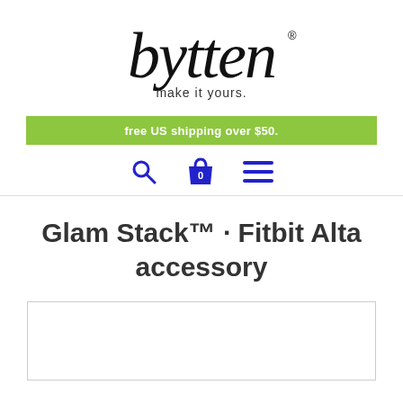[Figure (logo): Bytten logo with cursive 'bytten' text and 'make it yours.' tagline]
free US shipping over $50.
[Figure (other): Navigation icons: search magnifying glass, shopping bag with 0, and hamburger menu]
Glam Stack™ · Fitbit Alta accessory
[Figure (photo): Product image placeholder box]